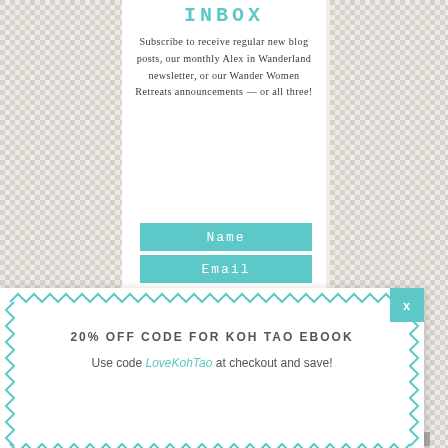INBOX
Subscribe to receive regular new blog posts, our monthly Alex in Wanderland newsletter, or our Wander Women Retreats announcements — or all three!
Name
Email
[Figure (other): GO! button shaped like a downward arrow/bookmark ribbon in dark gray with white text]
20% OFF CODE FOR KOH TAO EBOOK
Use code LoveKohTao at checkout and save!